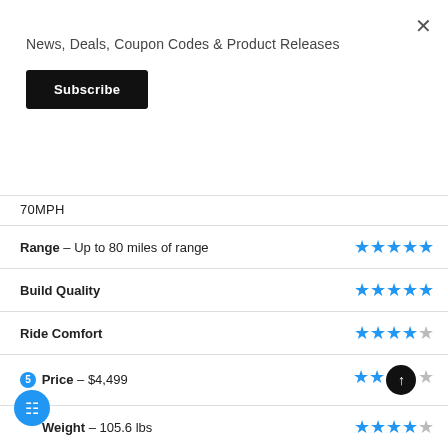News, Deals, Coupon Codes & Product Releases
Subscribe
| Category | Rating |
| --- | --- |
| 70MPH |  |
| Range – Up to 80 miles of range | ★★★★★ |
| Build Quality | ★★★★★ |
| Ride Comfort | ★★★★☆ |
| Price – $4,499 | ★★★☆ |
| Weight – 105.6 lbs | ★★★★☆ |